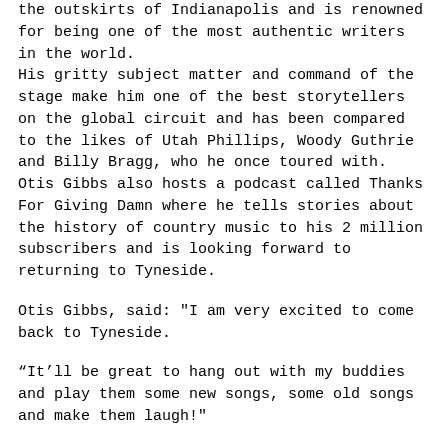the outskirts of Indianapolis and is renowned for being one of the most authentic writers in the world.
His gritty subject matter and command of the stage make him one of the best storytellers on the global circuit and has been compared to the likes of Utah Phillips, Woody Guthrie and Billy Bragg, who he once toured with.
Otis Gibbs also hosts a podcast called Thanks For Giving Damn where he tells stories about the history of country music to his 2 million subscribers and is looking forward to returning to Tyneside.
Otis Gibbs, said: "I am very excited to come back to Tyneside.
“It’ll be great to hang out with my buddies and play them some new songs, some old songs and make them laugh!"
Graham adds: "An evening with Otis will be the most entertaining American folk songwriter evening you’ll ever attend.
"We are nearly 33 years old now so just keeping programming and promoting live music in the North East independently is a remarkable achievement in itself.
"I doubt if any other UK specialist music promoters are still going from 1985 till the now! We’re very proud of that and we have many great memories."